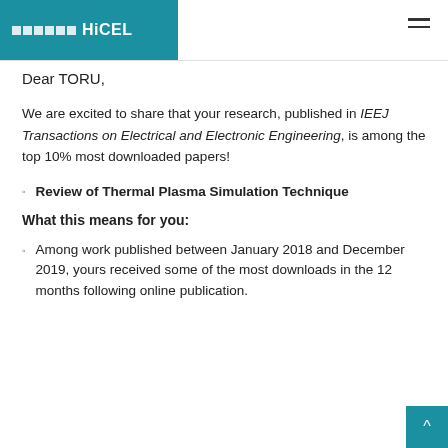░░░░░░ HiCEL
Dear TORU,
We are excited to share that your research, published in IEEJ Transactions on Electrical and Electronic Engineering, is among the top 10% most downloaded papers!
Review of Thermal Plasma Simulation Technique
What this means for you:
Among work published between January 2018 and December 2019, yours received some of the most downloads in the 12 months following online publication.